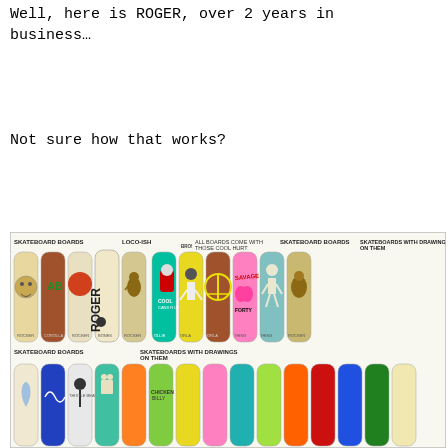Well, here is ROGER, over 2 years in business…
Not sure how that works?
[Figure (illustration): A colorful illustration of multiple rows of skateboard decks with cartoon drawings on them, labeled 'SKATEBOARD BOARDS', 'LOCO-ISH', 'ROGER', and 'SKATEBOARD BOARDS SKATEBOARDS WITH DRAWINGS ON THEM'.]